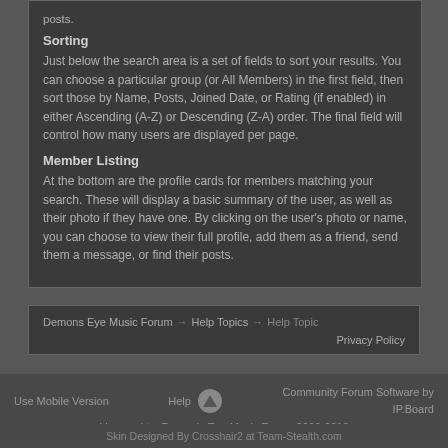posts.
Sorting
Just below the search area is a set of fields to sort your results. You can choose a particular group (or All Members) in the first field, then sort those by Name, Posts, Joined Date, or Rating (if enabled) in either Ascending (A-Z) or Descending (Z-A) order. The final field will control how many users are displayed per page.
Member Listing
At the bottom are the profile cards for members matching your search. These will display a basic summary of the user, as well as their photo if they have one. By clicking on the user's photo or name, you can choose to view their full profile, add them as a friend, send them a message, or find their posts.
Demons Eye Music Forum → Help Topics → Help Topic
Privacy Policy
Use Mobile Version   Help   Community Forum Software by IP.Board
Licensed to: Demon's Eye Music Forum 2006-2018
Skin Designed By Crosshair2 at Team-Stealth.com